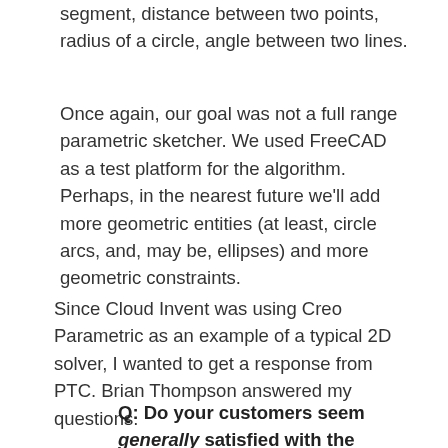segment, distance between two points, radius of a circle, angle between two lines.
Once again, our goal was not a full range parametric sketcher. We used FreeCAD as a test platform for the algorithm. Perhaps, in the nearest future we'll add more geometric entities (at least, circle arcs, and, may be, ellipses) and more geometric constraints.
Since Cloud Invent was using Creo Parametric as an example of a typical 2D solver, I wanted to get a response from PTC. Brian Thompson answered my questions.
Q: Do your customers seem generally satisfied with the interactive performance